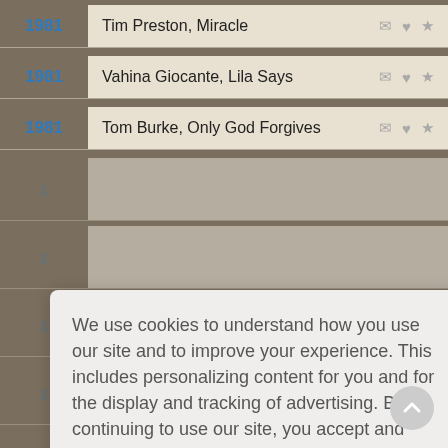1981 – Tim Preston, Miracle
1981 – Vahina Giocante, Lila Says
1981 – Tom Burke, Only God Forgives
We use cookies to understand how you use our site and to improve your experience. This includes personalizing content for you and for the display and tracking of advertising. By continuing to use our site, you accept and agree to our use of cookies. Privacy Policy
Got it!